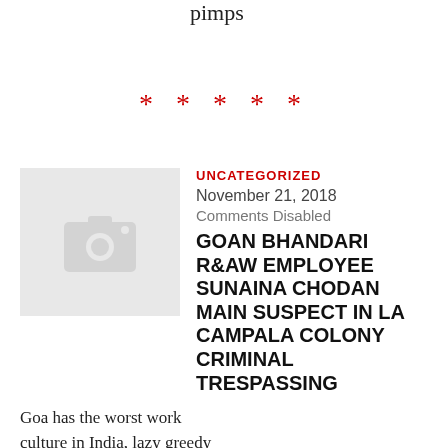pimps
* * * * *
[Figure (photo): Placeholder camera icon thumbnail image with grey background]
UNCATEGORIZED
November 21, 2018
Comments Disabled
GOAN BHANDARI R&AW EMPLOYEE SUNAINA CHODAN MAIN SUSPECT IN LA CAMPALA COLONY CRIMINAL TRESPASSING
Goa has the worst work culture in India, lazy greedy